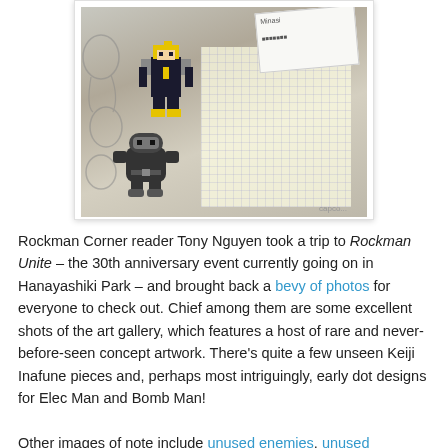[Figure (photo): Photo of pixel art sprite sheets and concept art sketches on graph paper, showing early dot designs for Elec Man and Bomb Man from Rockman/Mega Man, displayed at the Rockman Unite 30th anniversary event.]
Rockman Corner reader Tony Nguyen took a trip to Rockman Unite – the 30th anniversary event currently going on in Hanayashiki Park – and brought back a bevy of photos for everyone to check out. Chief among them are some excellent shots of the art gallery, which features a host of rare and never-before-seen concept artwork. There's quite a few unseen Keiji Inafune pieces and, perhaps most intriguingly, early dot designs for Elec Man and Bomb Man!
Other images of note include unused enemies, unused Robot Masters and even Inafune's original, uncolored MM1